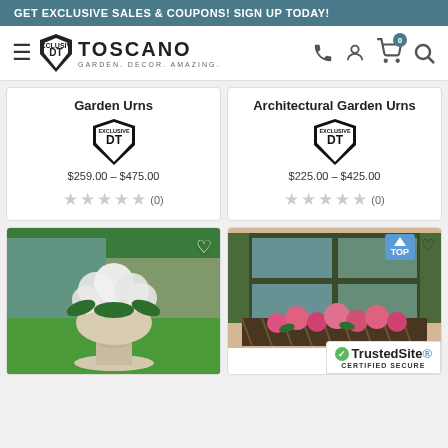GET EXCLUSIVE SALES & COUPONS! SIGN UP TODAY!
[Figure (logo): Design Toscano logo with shield emblem, tagline GARDEN. DECOR. AMAZING.]
Garden Urns
$259.00 – $475.00
(0)
Architectural Garden Urns
$225.00 – $425.00
(0)
[Figure (photo): White stone garden urn planter filled with white flowers on green lawn]
[Figure (photo): Wrought iron window box planter with pink flowers mounted on wall, TOP button overlay, TrustedSite certified secure badge]